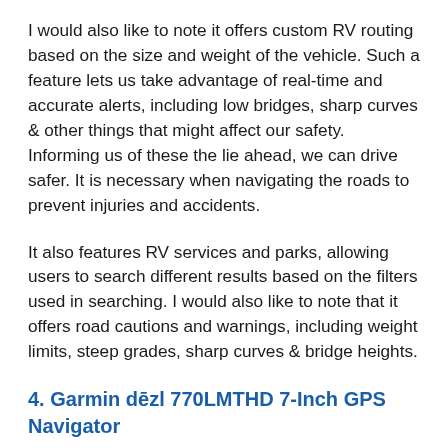I would also like to note it offers custom RV routing based on the size and weight of the vehicle. Such a feature lets us take advantage of real-time and accurate alerts, including low bridges, sharp curves & other things that might affect our safety. Informing us of these the lie ahead, we can drive safer. It is necessary when navigating the roads to prevent injuries and accidents.
It also features RV services and parks, allowing users to search different results based on the filters used in searching. I would also like to note that it offers road cautions and warnings, including weight limits, steep grades, sharp curves & bridge heights.
4. Garmin dēzl 770LMTHD 7-Inch GPS Navigator